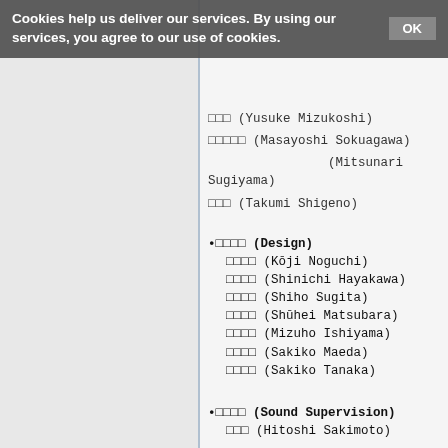Cookie banner: Cookies help us deliver our services. By using our services, you agree to our use of cookies. OK
□□□ (Yusuke Mizukoshi)
□□□□□ (Masayoshi Sokagawa) / (Mitsunari Sugiyama)
□□□ (Takumi Shigeno)
•□□□□ (Design)
  □□□□ (Kōji Noguchi)
  □□□□ (Shinichi Hayakawa)
  □□□□ (Shiho Sugita)
  □□□□ (Shūhei Matsubara)
  □□□□ (Mizuho Ishiyama)
  □□□□ (Sakiko Maeda)
  □□□□ (Sakiko Tanaka)
•□□□□ (Sound Supervision)
  □□□ (Hitoshi Sakimoto)
•□□□□ (Sound Director)
  □□□□□□□□□ (Sound Design &)
  □□□□□□□□ (Manipulate)
  □□□□ (Masaaki Kaneko)
•□□□□□ (Composition & Arrangement)
  □□□□ (Noriyuki Kamikura)
  □□□□ (Yoshimi Kudō)